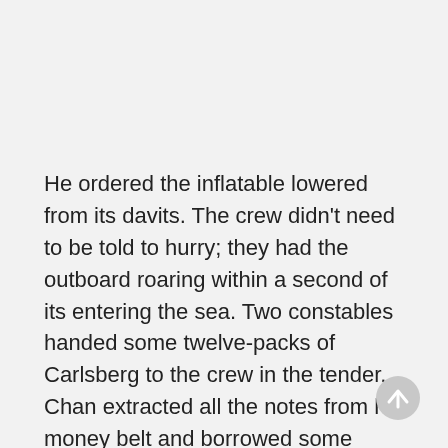He ordered the inflatable lowered from its davits. The crew didn't need to be told to hurry; they had the outboard roaring within a second of its entering the sea. Two constables handed some twelve-packs of Carlsberg to the crew in the tender. Chan extracted all the notes from his money belt and borrowed some more from Aston. The wind had started to moan.